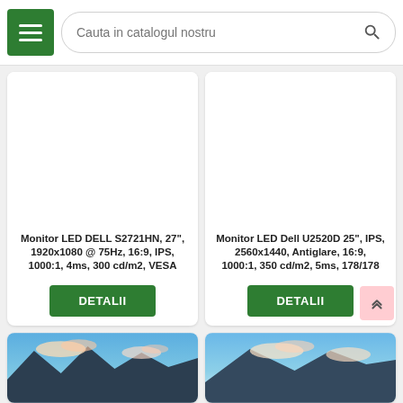Cauta in catalogul nostru
Monitor LED DELL S2721HN, 27", 1920x1080 @ 75Hz, 16:9, IPS, 1000:1, 4ms, 300 cd/m2, VESA
DETALII
Monitor LED Dell U2520D 25", IPS, 2560x1440, Antiglare, 16:9, 1000:1, 350 cd/m2, 5ms, 178/178
DETALII
[Figure (photo): Partial monitor product image bottom left]
[Figure (photo): Partial monitor product image bottom right]